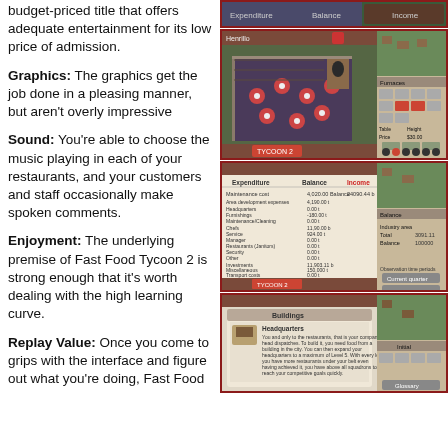budget-priced title that offers adequate entertainment for its low price of admission.
Graphics: The graphics get the job done in a pleasing manner, but aren't overly impressive
Sound: You're able to choose the music playing in each of your restaurants, and your customers and staff occasionally make spoken comments.
Enjoyment: The underlying premise of Fast Food Tycoon 2 is strong enough that it's worth dealing with the high learning curve.
Replay Value: Once you come to grips with the interface and figure out what you're doing, Fast Food
[Figure (screenshot): Small top strip screenshot of Fast Food Tycoon 2 game UI]
[Figure (screenshot): Isometric view of restaurant interior with tables and customers in Fast Food Tycoon 2]
[Figure (screenshot): Spreadsheet/balance view showing expenditures, balance, and income columns in Fast Food Tycoon 2]
[Figure (screenshot): Buildings panel showing Headquarters description in Fast Food Tycoon 2]